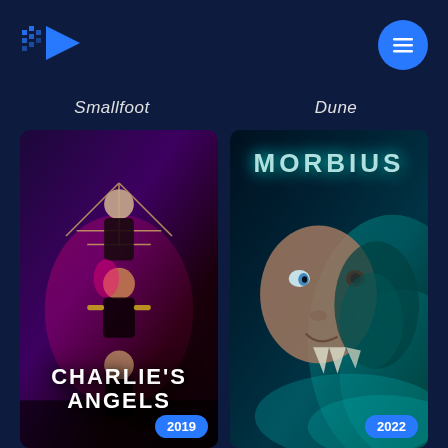[Figure (logo): Streaming app logo with pixel/dot play button icon in blue]
[Figure (illustration): Blue circular hamburger menu button]
Smallfoot
Dune
[Figure (photo): Charlie's Angels (2019) movie poster showing three women in action poses with the title CHARLIE'S ANGELS at the bottom]
2019
[Figure (photo): Morbius (2022) movie poster showing a dark face split with a creature, with the title MORBIUS at the top in teal letters]
2022